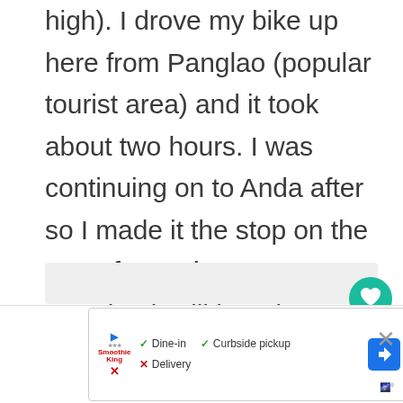high). I drove my bike up here from Panglao (popular tourist area) and it took about two hours. I was continuing on to Anda after so I made it the stop on the way. If you plan to return to Panglao it will be a long journey of 2-hours driving each way.
[Figure (other): Gray placeholder content area box]
[Figure (other): Teal circular heart/favorite FAB button and white circular share FAB button on the right side]
[Figure (other): Advertisement bar at bottom showing Smoothie King ad with Dine-in checkmark, Curbside pickup checkmark, Delivery cross mark, navigation/route icon, close X button, and weather icon]